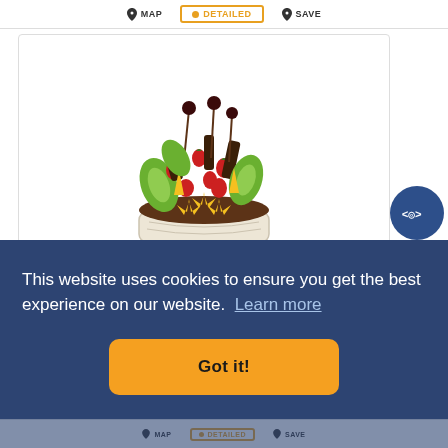MAP   DETAILED   SAVE
[Figure (photo): A fruit arrangement in a white basket, containing pineapple flowers, strawberries, green kiwi slices, and chocolate-dipped pieces on skewers]
EDIBLE ARRANGEMENTS
This website uses cookies to ensure you get the best experience on our website. Learn more
Got it!
MAP   DETAILED   SAVE